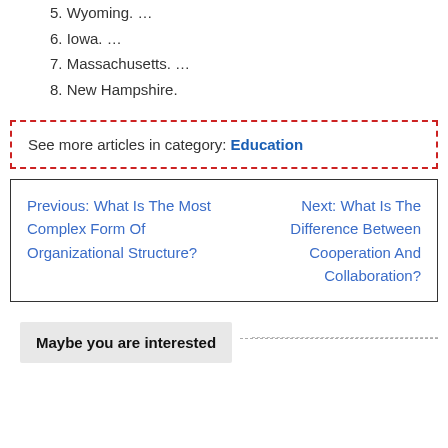5. Wyoming. …
6. Iowa. …
7. Massachusetts. …
8. New Hampshire.
See more articles in category: Education
Previous: What Is The Most Complex Form Of Organizational Structure?    Next: What Is The Difference Between Cooperation And Collaboration?
Maybe you are interested